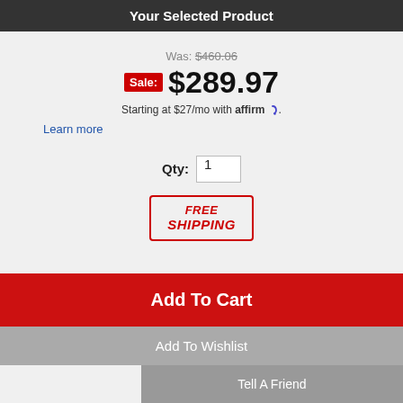Your Selected Product
Was: $460.06
Sale: $289.97
Starting at $27/mo with affirm.
Learn more
Qty: 1
[Figure (other): FREE SHIPPING badge with red border and red italic bold text]
Add To Cart
Add To Wishlist
Tell A Friend